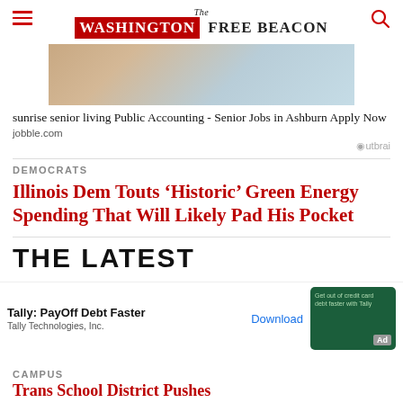The Washington Free Beacon
[Figure (photo): Advertisement image showing documents and a calculator on a desk]
sunrise senior living Public Accounting - Senior Jobs in Ashburn Apply Now
jobble.com
Outbrain
DEMOCRATS
Illinois Dem Touts ‘Historic’ Green Energy Spending That Will Likely Pad His Pocket
THE LATEST
[Figure (screenshot): Tally: PayOff Debt Faster advertisement banner - Tally Technologies, Inc. with Download button and green ad image]
CAMPUS
Trans School District Pushes